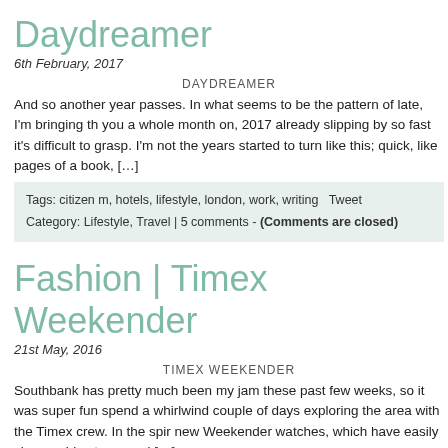Daydreamer
6th February, 2017
DAYDREAMER
And so another year passes. In what seems to be the pattern of late, I'm bringing th you a whole month on, 2017 already slipping by so fast it's difficult to grasp. I'm not the years started to turn like this; quick, like pages of a book, […]
Tags: citizen m, hotels, lifestyle, london, work, writing  Tweet
Category: Lifestyle, Travel | 5 comments - (Comments are closed)
Fashion | Timex Weekender
21st May, 2016
TIMEX WEEKENDER
Southbank has pretty much been my jam these past few weeks, so it was super fun spend a whirlwind couple of days exploring the area with the Timex crew. In the spir new Weekender watches, which have easily changeable straps and […]